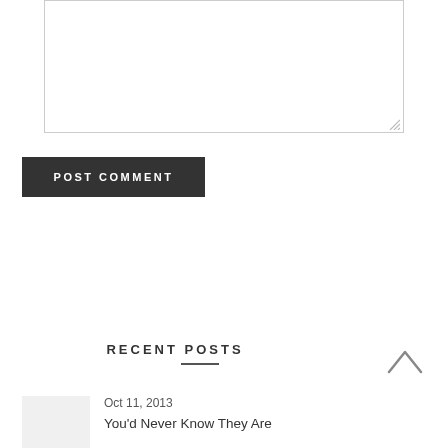[Figure (screenshot): Textarea input box with resize handle at bottom right]
POST COMMENT
[Figure (screenshot): Search bar with text input showing 'Search...' placeholder and a dark search button with magnifying glass icon]
RECENT POSTS
Oct 11, 2013
You'd Never Know They Are